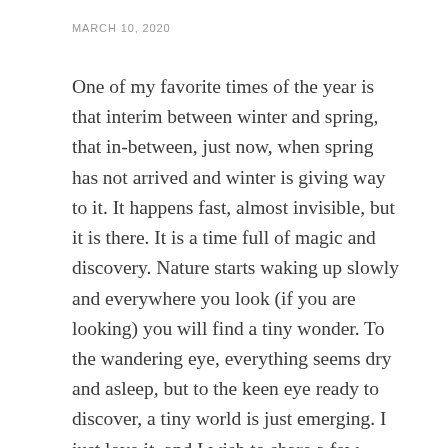MARCH 10, 2020
One of my favorite times of the year is that interim between winter and spring, that in-between, just now, when spring has not arrived and winter is giving way to it. It happens fast, almost invisible, but it is there. It is a time full of magic and discovery. Nature starts waking up slowly and everywhere you look (if you are looking) you will find a tiny wonder. To the wandering eye, everything seems dry and asleep, but to the keen eye ready to discover, a tiny world is just emerging. I just love it, and I wish to share a few pictures on this post so you can enjoy that emerging tiny world that will soon give way to spring, full blooms, and more defined natural surroundings. I hope you are inspired to go outside and look at your surroundings with different eyes, and discover your own tiny world.